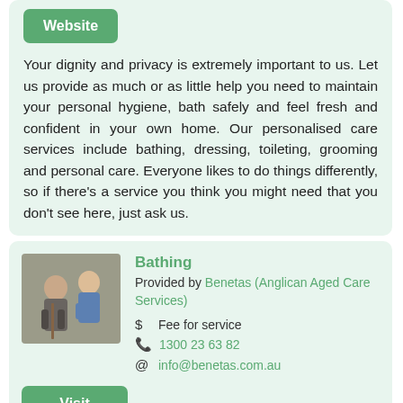[Figure (other): Green 'Website' button]
Your dignity and privacy is extremely important to us. Let us provide as much or as little help you need to maintain your personal hygiene, bath safely and feel fresh and confident in your own home. Our personalised care services include bathing, dressing, toileting, grooming and personal care. Everyone likes to do things differently, so if there's a service you think you might need that you don't see here, just ask us.
[Figure (photo): Photo of elderly person with care worker]
Bathing
Provided by Benetas (Anglican Aged Care Services)
$ Fee for service
1300 23 63 82
info@benetas.com.au
[Figure (other): Green 'Visit Website' button]
Help with bathing, showering, dressing, grooming and personal care to help you stay living in your own home.